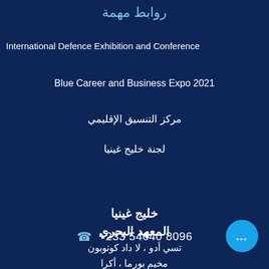روابط مهمة
International Defence Exhibition and Conference
Blue Career and Business Expo 2021
مركز التنسيق الإقليمي
لجنة خليج غينيا
خليج غينيا
المعهد البحري
تسي أدو ، لا داد كوتوبون
مخيم بورما ، أكرا
+233 54640 8096